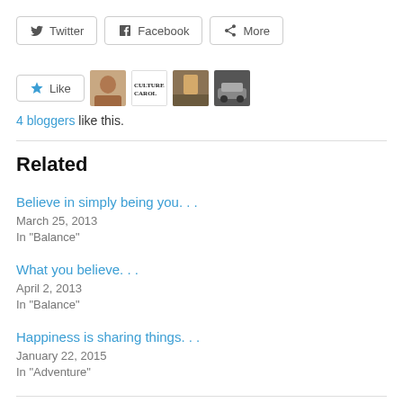[Figure (other): Social share buttons: Twitter, Facebook, More]
[Figure (other): Like button with blogger avatars: person photo, Culture Carol logo, fitness photo, car photo]
4 bloggers like this.
Related
Believe in simply being you. . .
March 25, 2013
In "Balance"
What you believe. . .
April 2, 2013
In "Balance"
Happiness is sharing things. . .
January 22, 2015
In "Adventure"